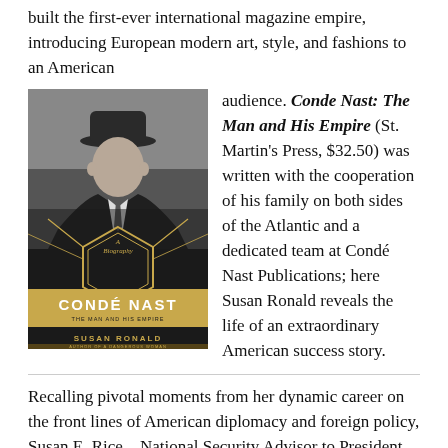built the first-ever international magazine empire, introducing European modern art, style, and fashions to an American audience. Conde Nast: The Man and His Empire (St. Martin's Press, $32.50) was written with the cooperation of his family on both sides of the Atlantic and a dedicated team at Condé Nast Publications; here Susan Ronald reveals the life of an extraordinary American success story.
[Figure (photo): Book cover of 'Condé Nast: The Man and His Empire – A Biography' by Susan Ronald, showing a black and white photo of Condé Nast in a hat, with art deco gold geometric design and gold text on dark background.]
Recalling pivotal moments from her dynamic career on the front lines of American diplomacy and foreign policy, Susan E. Rice—National Security Advisor to President Barack Obama and US Ambassador to the United Nations—reveals her surprising story with unflinching candor in Tough Love: My Story of the Things Worth Fighting For (Simon & Schuster, $30).